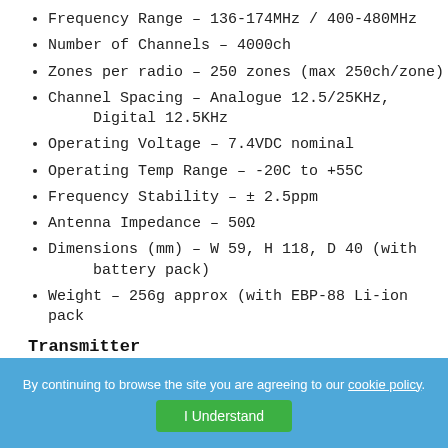Frequency Range - 136-174MHz / 400-480MHz
Number of Channels - 4000ch
Zones per radio - 250 zones (max 250ch/zone)
Channel Spacing - Analogue 12.5/25KHz, Digital 12.5KHz
Operating Voltage - 7.4VDC nominal
Operating Temp Range - -20C to +55C
Frequency Stability - ± 2.5ppm
Antenna Impedance - 50Ω
Dimensions (mm) - W 59, H 118, D 40 (with battery pack)
Weight - 256g approx (with EBP-88 Li-ion pack
Transmitter
RF Power Output - 5W/2.5W/1W/0.2W
Spurious Emission - Less than 1GHz -36dBm, More than 1GHz -30dBm
FM Hum & Noise - 25KHz 40dB; 12.5KHz 36dB
By continuing to browse the site you are agreeing to our cookie policy.
I Understand